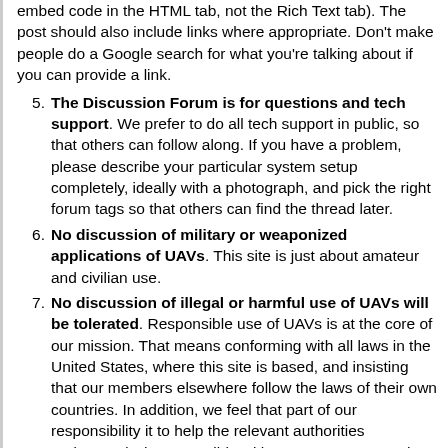(continuation) embed code in the HTML tab, not the Rich Text tab). The post should also include links where appropriate. Don't make people do a Google search for what you're talking about if you can provide a link.
5. The Discussion Forum is for questions and tech support. We prefer to do all tech support in public, so that others can follow along. If you have a problem, please describe your particular system setup completely, ideally with a photograph, and pick the right forum tags so that others can find the thread later.
6. No discussion of military or weaponized applications of UAVs. This site is just about amateur and civilian use.
7. No discussion of illegal or harmful use of UAVs will be tolerated. Responsible use of UAVs is at the core of our mission. That means conforming with all laws in the United States, where this site is based, and insisting that our members elsewhere follow the laws of their own countries. In addition, we feel that part of our responsibility it to help the relevant authorities understand what's possible with amateur UAVs, so they can make better-informed policies and laws. So we have encouraged all relevant regulators, defense agencies and law enforcement agencies to become members here and even participate to help them do that, and many have. In addition, if we see any discussion of UAV use that we feel is potentially illegal or